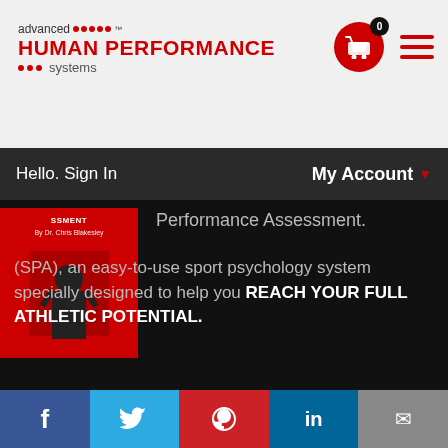[Figure (logo): Advanced Human Performance Systems logo with red dots and red text]
[Figure (illustration): Shopping cart icon in red circle with badge showing 0, and hamburger menu icon in red]
Hello. Sign In   My Account
Performance Assessment.
(SPA), an easy-to-use sport psychology system specially designed to help you REACH YOUR FULL ATHLETIC POTENTIAL.
Learn More
SportsSuccess360
Life strategies for performance and character development
[Figure (illustration): Social media share bar with Facebook, Twitter, Pinterest, LinkedIn, and Email buttons]